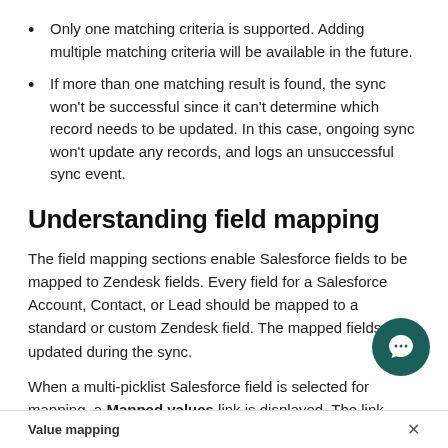Only one matching criteria is supported. Adding multiple matching criteria will be available in the future.
If more than one matching result is found, the sync won't be successful since it can't determine which record needs to be updated. In this case, ongoing sync won't update any records, and logs an unsuccessful sync event.
Understanding field mapping
The field mapping sections enable Salesforce fields to be mapped to Zendesk fields. Every field for a Salesforce Account, Contact, or Lead should be mapped to a standard or custom Zendesk field. The mapped fields are updated during the sync.
When a multi-picklist Salesforce field is selected for mapping, a Mapped values link is displayed. The link opens a window to map multiple Saleforce fields to Zendesk fields.
[Figure (other): Chat support bubble button (dark teal circular icon with speech bubble symbol)]
Value mapping ×